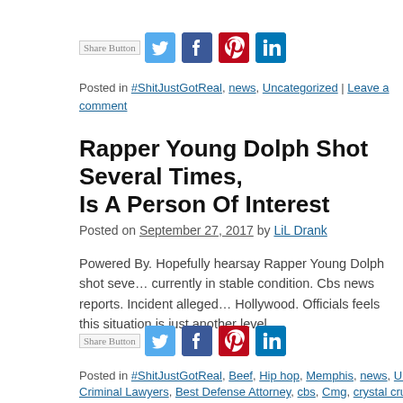[Figure (other): Share buttons row: Share Button placeholder, Twitter, Facebook, Pinterest, LinkedIn social icons]
Posted in #ShitJustGotReal, news, Uncategorized | Leave a comment
Rapper Young Dolph Shot Several Times, Is A Person Of Interest
Posted on September 27, 2017 by LiL Drank
Powered By. Hopefully hearsay Rapper Young Dolph shot seve... currently in stable condition. Cbs news reports. Incident alleged... Hollywood. Officials feels this situation is just another level …
[Figure (other): Share buttons row: Share Button placeholder, Twitter, Facebook, Pinterest, LinkedIn social icons]
Posted in #ShitJustGotReal, Beef, Hip hop, Memphis, news, Uncategorized, Criminal Lawyers, Best Defense Attorney, cbs, Cmg, crystal cruz, Jewelry, Ne... Rapper Young Dolph Shot, Rivalry, Yo Gotti, Yo Gotti Getting Arrested Fo S...